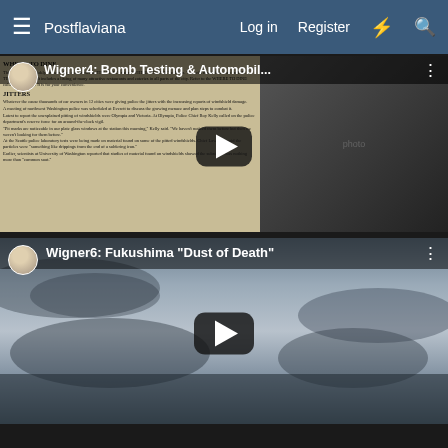Postflaviana | Log in | Register
[Figure (screenshot): YouTube-style video thumbnail for 'Wigner4: Bomb Testing & Automobil...' showing a newspaper article about pitted/pock-marked windshields and an H-bomb connection, with a play button overlay]
[Figure (screenshot): YouTube-style video thumbnail for 'Wigner6: Fukushima "Dust of Death"' showing a dark stormy sky with a play button overlay]